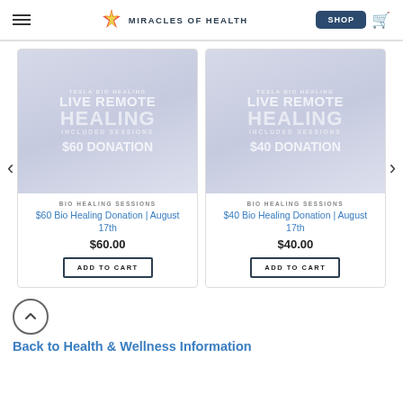Miracles of Health — Shop
[Figure (screenshot): Tesla Bio Healing Live Remote Healing – Included Sessions product image with $60 Donation text overlay]
BIO HEALING SESSIONS
$60 Bio Healing Donation | August 17th
$60.00
ADD TO CART
[Figure (screenshot): Tesla Bio Healing Live Remote Healing – Included Sessions product image with $40 Donation text overlay]
BIO HEALING SESSIONS
$40 Bio Healing Donation | August 17th
$40.00
ADD TO CART
Back to Health & Wellness Information